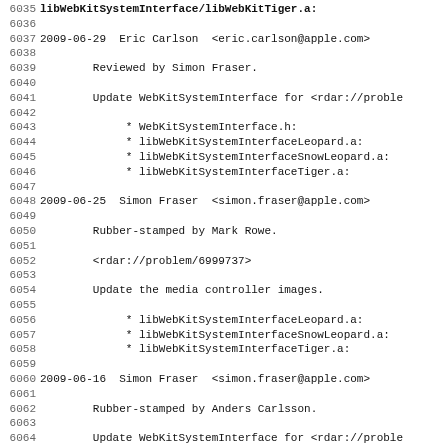Source code changelog / commit log excerpt showing lines 6035–6067
6036 (blank)
6037 2009-06-29  Eric Carlson  <eric.carlson@apple.com>
6038 (blank)
6039        Reviewed by Simon Fraser.
6040 (blank)
6041        Update WebKitSystemInterface for <rdar://proble
6042 (blank)
6043             * WebKitSystemInterface.h:
6044             * libWebKitSystemInterfaceLeopard.a:
6045             * libWebKitSystemInterfaceSnowLeopard.a:
6046             * libWebKitSystemInterfaceTiger.a:
6047 (blank)
6048 2009-06-25  Simon Fraser  <simon.fraser@apple.com>
6049 (blank)
6050        Rubber-stamped by Mark Rowe.
6051 (blank)
6052        <rdar://problem/6999737>
6053 (blank)
6054        Update the media controller images.
6055 (blank)
6056             * libWebKitSystemInterfaceLeopard.a:
6057             * libWebKitSystemInterfaceSnowLeopard.a:
6058             * libWebKitSystemInterfaceTiger.a:
6059 (blank)
6060 2009-06-16  Simon Fraser  <simon.fraser@apple.com>
6061 (blank)
6062        Rubber-stamped by Anders Carlsson.
6063 (blank)
6064        Update WebKitSystemInterface for <rdar://proble
6065 (blank)
6066             * libWebKitSystemInterfaceLeopard.a:
6067             * libWebKitSystemInterfaceSnowLeopard.a: